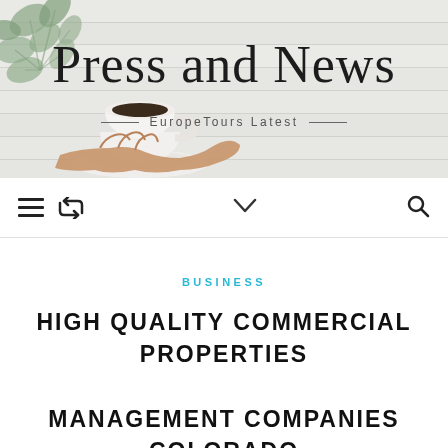[Figure (illustration): Blog header banner with wood plank background, cursive 'Press and News' title, 'EuropeTours Latest' subtitle with horizontal lines, eucalyptus leaves in top-left corner, and a hand holding a coffee cup on a saucer in the lower-left area]
Press and News — EuropeTours Latest —
[Figure (infographic): Navigation bar with hamburger menu icon, retweet/loop icon on the left, chevron down arrow in center, and search magnifier icon on the right]
BUSINESS
HIGH QUALITY COMMERCIAL PROPERTIES MANAGEMENT COMPANIES COLORADO SPRINGS, CO NEAR ME